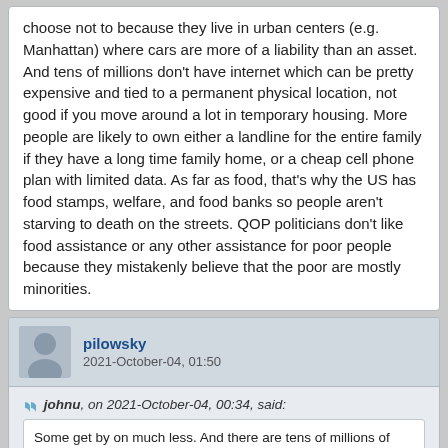choose not to because they live in urban centers (e.g. Manhattan) where cars are more of a liability than an asset. And tens of millions don't have internet which can be pretty expensive and tied to a permanent physical location, not good if you move around a lot in temporary housing. More people are likely to own either a landline for the entire family if they have a long time family home, or a cheap cell phone plan with limited data. As far as food, that's why the US has food stamps, welfare, and food banks so people aren't starving to death on the streets. QOP politicians don't like food assistance or any other assistance for poor people because they mistakenly believe that the poor are mostly minorities.
pilowsky
2021-October-04, 01:50
johnu, on 2021-October-04, 00:34, said:
Some get by on much less. And there are tens of millions of people that don't own cars but rely on public transportation or friends to get around. To be fair, many people could probably afford a car but choose not to because they live in urban centers (e.g. Manhattan) where cars are more of a liability than an asset. And tens of millions don't have internet which can be pretty expensive and tied to a permanent physical location, not